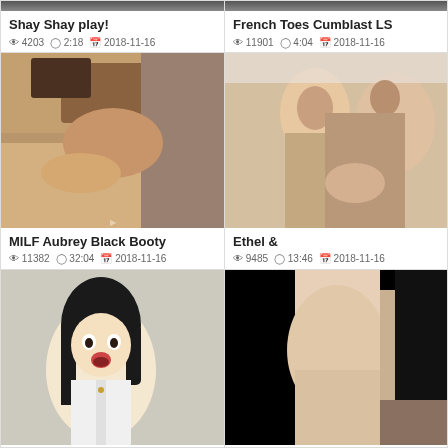[Figure (photo): Partial thumbnail clipped at top, left card]
Shay Shay play!
👁 4203  🕐 2:18  📅 2018-11-16
[Figure (photo): Partial thumbnail clipped at top, right card]
French Toes Cumblast LS
👁 11901  🕐 4:04  📅 2018-11-16
[Figure (photo): Video thumbnail - MILF Aubrey Black Booty]
MILF Aubrey Black Booty
👁 11382  🕐 32:04  📅 2018-11-16
[Figure (photo): Video thumbnail - Ethel &]
Ethel &
👁 9485  🕐 13:46  📅 2018-11-16
[Figure (illustration): Anime/illustration thumbnail bottom left]
[Figure (photo): Video thumbnail bottom right]